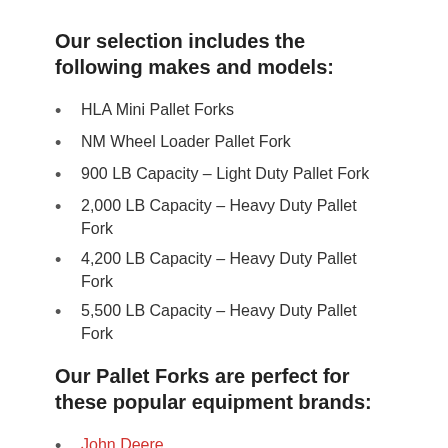Our selection includes the following makes and models:
HLA Mini Pallet Forks
NM Wheel Loader Pallet Fork
900 LB Capacity – Light Duty Pallet Fork
2,000 LB Capacity – Heavy Duty Pallet Fork
4,200 LB Capacity – Heavy Duty Pallet Fork
5,500 LB Capacity – Heavy Duty Pallet Fork
Our Pallet Forks are perfect for these popular equipment brands:
John Deere
Kubota
Bobcat